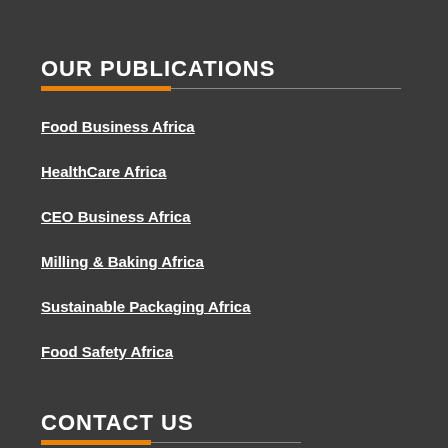OUR PUBLICATIONS
Food Business Africa
HealthCare Africa
CEO Business Africa
Milling & Baking Africa
Sustainable Packaging Africa
Food Safety Africa
CONTACT US